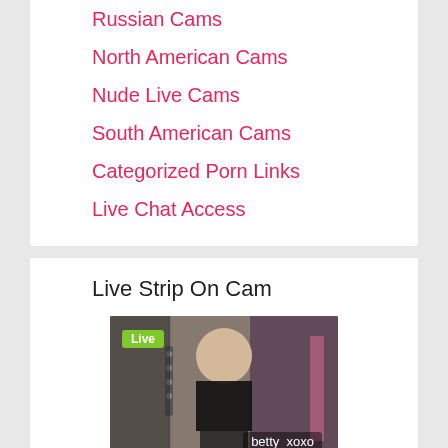Russian Cams
North American Cams
Nude Live Cams
South American Cams
Categorized Porn Links
Live Chat Access
Live Strip On Cam
[Figure (screenshot): Live webcam stream thumbnail showing a woman in black top and underwear with username betty_xoxo and green Live badge]
[Figure (screenshot): Second live webcam stream thumbnail showing a woman with headphones and green Live badge]